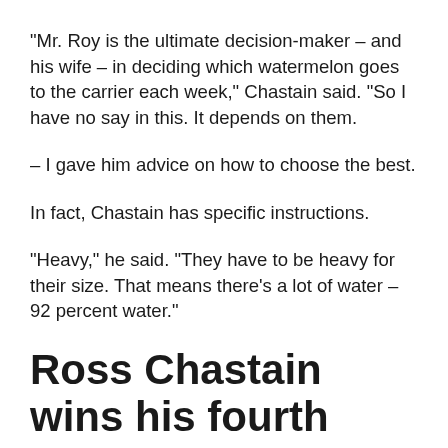“Mr. Roy is the ultimate decision-maker – and his wife – in deciding which watermelon goes to the carrier each week,” Chastain said. “So I have no say in this. It depends on them.
– I gave him advice on how to choose the best.
In fact, Chastain has specific instructions.
“Heavy,” he said. “They have to be heavy for their size. That means there’s a lot of water – 92 percent water.”
Ross Chastain wins his fourth race in the truck